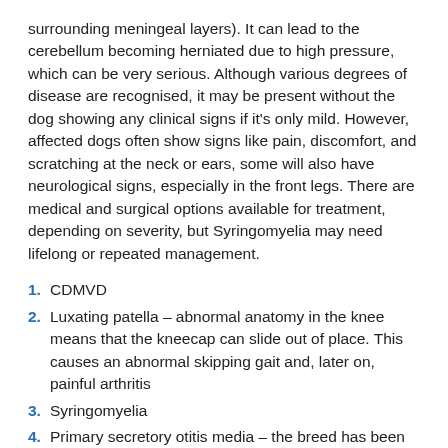surrounding meningeal layers). It can lead to the cerebellum becoming herniated due to high pressure, which can be very serious. Although various degrees of disease are recognised, it may be present without the dog showing any clinical signs if it's only mild. However, affected dogs often show signs like pain, discomfort, and scratching at the neck or ears, some will also have neurological signs, especially in the front legs. There are medical and surgical options available for treatment, depending on severity, but Syringomyelia may need lifelong or repeated management.
1. CDMVD
2. Luxating patella – abnormal anatomy in the knee means that the kneecap can slide out of place. This causes an abnormal skipping gait and, later on, painful arthritis
3. Syringomyelia
4. Primary secretory otitis media – the breed has been shown to suffer from middle-ear disease relating to an accumulation of mucus in the middle ear. This requires thorough (and sometimes repeated) cleaning through the ear drum, whilst under anaesthesia
5. Retinal dysplasia and inherited cataracts – Cavaliers may inherit